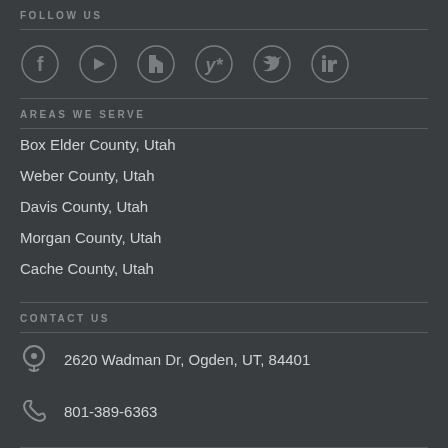FOLLOW US
[Figure (illustration): Social media icons: Facebook, YouTube, Houzz, Yelp, Twitter, LinkedIn]
AREAS WE SERVE
Box Elder County, Utah
Weber County, Utah
Davis County, Utah
Morgan County, Utah
Cache County, Utah
CONTACT US
2620 Wadman Dr, Ogden, UT, 84401
801-389-6363